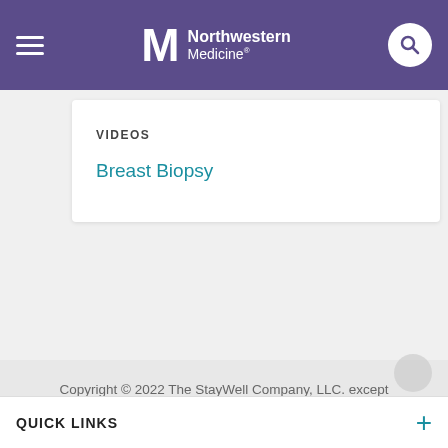Northwestern Medicine
VIDEOS
Breast Biopsy
Copyright © 2022 The StayWell Company, LLC. except where otherwise noted.
About The StayWell Company, LLC.
QUICK LINKS